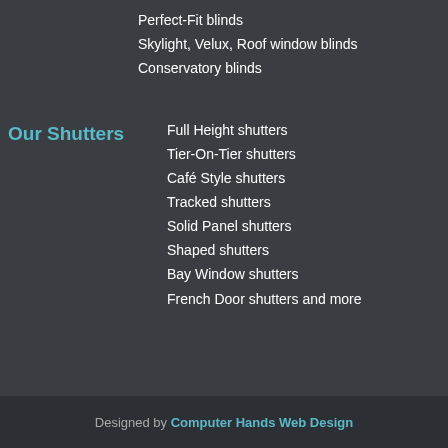Perfect-Fit blinds
Skylight, Velux, Roof window blinds
Conservatory blinds
Our Shutters
Full Height shutters
Tier-On-Tier shutters
Café Style shutters
Tracked shutters
Solid Panel shutters
Shaped shutters
Bay Window shutters
French Door shutters and more
Designed by Computer Hands Web Design